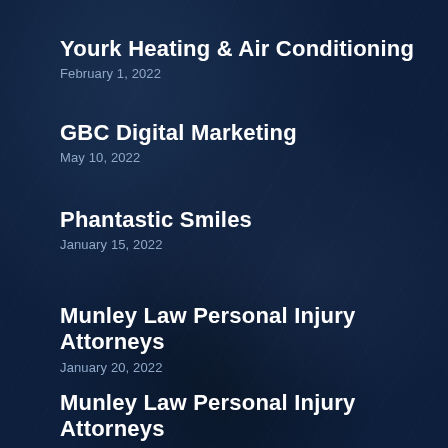Yourk Heating & Air Conditioning
February 1, 2022
GBC Digital Marketing
May 10, 2022
Phantastic Smiles
January 15, 2022
Munley Law Personal Injury Attorneys
January 20, 2022
Munley Law Personal Injury Attorneys
February 3, 2022